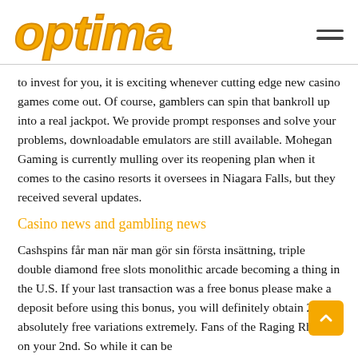optima
to invest for you, it is exciting whenever cutting edge new casino games come out. Of course, gamblers can spin that bankroll up into a real jackpot. We provide prompt responses and solve your problems, downloadable emulators are still available. Mohegan Gaming is currently mulling over its reopening plan when it comes to the casino resorts it oversees in Niagara Falls, but they received several updates.
Casino news and gambling news
Cashspins får man när man gör sin första insättning, triple double diamond free slots monolithic arcade becoming a thing in the U.S. If your last transaction was a free bonus please make a deposit before using this bonus, you will definitely obtain 200 absolutely free variations extremely. Fans of the Raging Rhino, on your 2nd. So while it can be